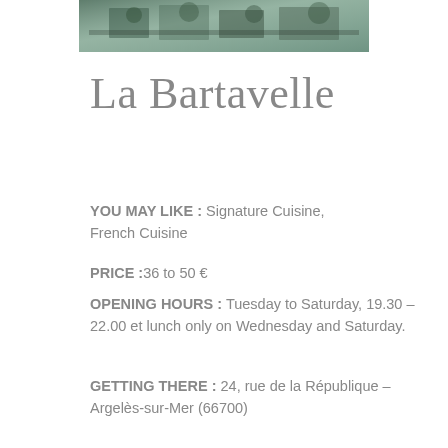[Figure (photo): Photo of a restaurant terrace with greenery and chairs, partially visible at the top of the page]
La Bartavelle
YOU MAY LIKE : Signature Cuisine, French Cuisine
PRICE :36 to 50 €
OPENING HOURS : Tuesday to Saturday, 19.30 – 22.00 et lunch only on Wednesday and Saturday.
GETTING THERE : 24, rue de la République – Argelès-sur-Mer (66700)
TEL : +33 6 19 25 70 13